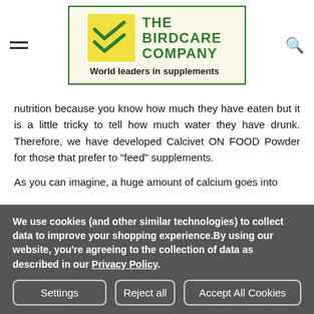[Figure (logo): The Birdcare Company logo — yellow square with green checkmarks, green text reading THE BIRDCARE COMPANY, tagline World leaders in supplements, all inside a green-bordered cream box]
nutrition because you know how much they have eaten but it is a little tricky to tell how much water they have drunk. Therefore, we have developed Calcivet ON FOOD Powder for those that prefer to "feed" supplements.
As you can imagine, a huge amount of calcium goes into
We use cookies (and other similar technologies) to collect data to improve your shopping experience.By using our website, you're agreeing to the collection of data as described in our Privacy Policy.